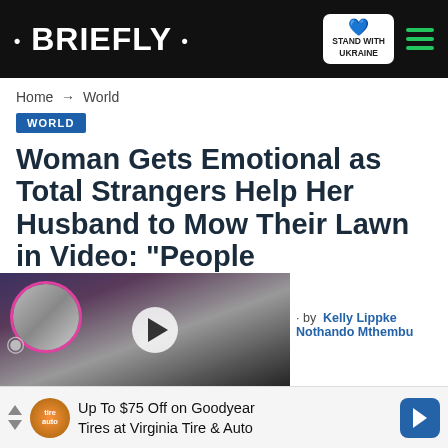• BRIEFLY •
Home → World
WORLD
Woman Gets Emotional as Total Strangers Help Her Husband to Mow Their Lawn in Video: "People
[Figure (screenshot): Video thumbnail with woman in foreground and couple inset circle, label 'A PSYCHIC PREDICTION OF TRUE LOVE']
by Kelly Lippke  Nothando Mthembu
Up To $75 Off on Goodyear Tires at Virginia Tire & Auto